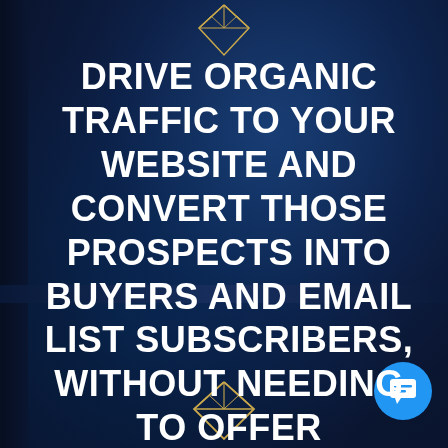[Figure (illustration): Dark navy blue background with golden diamond decorative elements at top center and bottom center. A cyan/blue circular chat bubble icon appears in the bottom right corner. A left edge dark bar and horizontal divider band are visible.]
DRIVE ORGANIC TRAFFIC TO YOUR WEBSITE AND CONVERT THOSE PROSPECTS INTO BUYERS AND EMAIL LIST SUBSCRIBERS, WITHOUT NEEDING TO OFFER DISCOUNTS OR GIVEAWAYS.